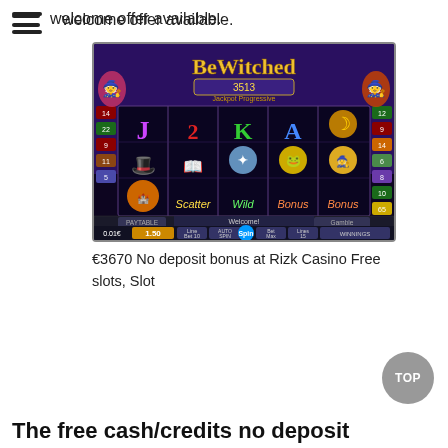welcome offer available.
[Figure (screenshot): BeWitched slot machine game screenshot showing reels with witch-themed symbols, progressive jackpot display of 3513, scatter/wild/bonus labels, and game controls including Spin, Auto Spin, Bet Max, Lines 15, and Line Bet 10 buttons.]
€3670 No deposit bonus at Rizk Casino Free slots, Slot
The free cash/credits no deposit